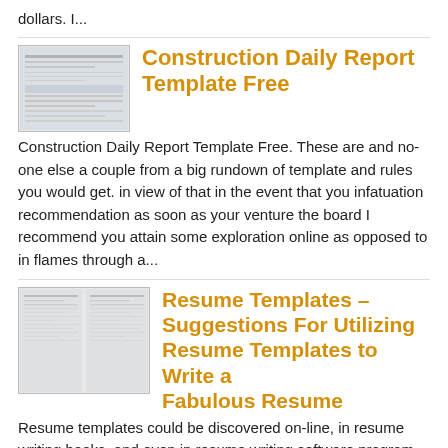dollars. I...
Construction Daily Report Template Free
Construction Daily Report Template Free. These are and no-one else a couple from a big rundown of template and rules you would get. in view of that in the event that you infatuation recommendation as soon as your venture the board I recommend you attain some exploration online as opposed to in flames through a...
Resume Templates – Suggestions For Utilizing Resume Templates to Write a Fabulous Resume
Resume templates could be discovered on-line, in resume writing books, and even in resume writing software program packages. They're nice instruments that will help you write an expert resume. Listed below are some suggestions that will help you profit from resume templates to provide an excellent resume. Discover a Template that Works for You When...
Technical Service Report...